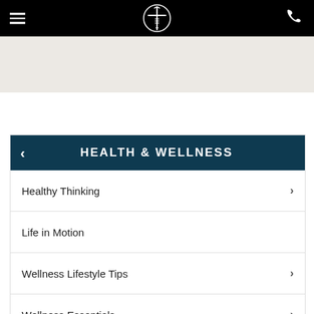Pine Creek Chiropractic Center — navigation bar with hamburger menu, logo, and phone icon
HEALTH & WELLNESS
Healthy Thinking
Life in Motion
Wellness Lifestyle Tips
Wellness Essentials